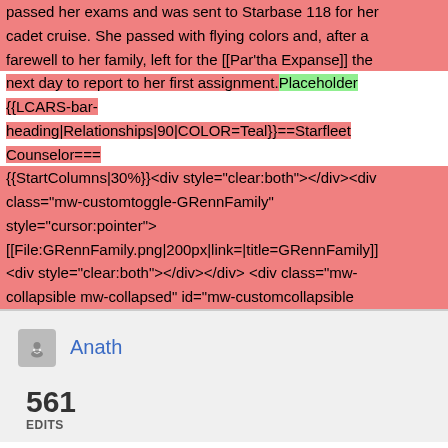Despite the struggle of maintaining composure, she passed her exams and was sent to Starbase 118 for her cadet cruise. She passed with flying colors and, after a farewell to her family, left for the [[Par'tha Expanse]] the next day to report to her first assignment. Placeholder {{LCARS-bar-heading|Relationships|90|COLOR=Teal}}==Starfleet Counselor=== {{StartColumns|30%}}<div style="clear:both"></div><div class="mw-customtoggle-GRennFamily" style="cursor:pointer"> [[File:GRennFamily.png|200px|link=|title=GRennFamily]] <div style="clear:both"></div></div> <div class="mw-collapsible mw-collapsed" id="mw-customcollapsible-
Anath
561
EDITS